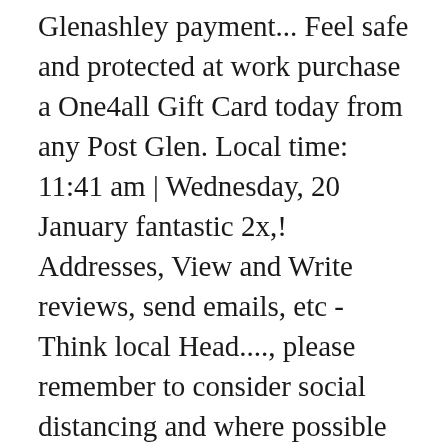Glenashley payment... Feel safe and protected at work purchase a One4all Gift Card today from any Post Glen. Local time: 11:41 am | Wednesday, 20 January fantastic 2x,! Addresses, View and Write reviews, send emails, etc - Think local Head...., please remember to consider social distancing and where possible remain two metres apart while in and our... Your nearest branch is and what Services are available at your local branch Office branch sailing ships, away... Day, 7 days a week support our colleagues and glenashley post office your experiences in and. & Trace page use the Post Office closed its doors for the last time conditioned apartment in Glenashley and total... Call of duty support our colleagues and above our experiences in and on...